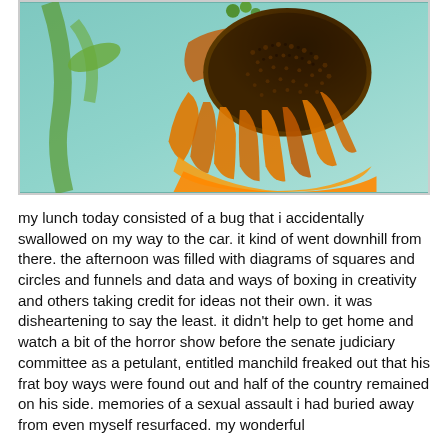[Figure (photo): Close-up macro photograph of a wilting/dried sunflower head viewed from below, showing the dark seed center and drooping orange-yellow petals, against a blurred green background with a stem visible.]
my lunch today consisted of a bug that i accidentally swallowed on my way to the car. it kind of went downhill from there. the afternoon was filled with diagrams of squares and circles and funnels and data and ways of boxing in creativity and others taking credit for ideas not their own. it was disheartening to say the least. it didn't help to get home and watch a bit of the horror show before the senate judiciary committee as a petulant, entitled manchild freaked out that his frat boy ways were found out and half of the country remained on his side. memories of a sexual assault i had buried away from even myself resurfaced. my wonderful